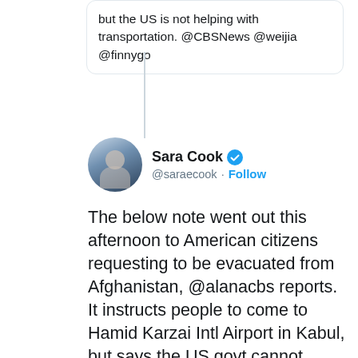but the US is not helping with transportation. @CBSNews @weijia @finnygo
Sara Cook @saraecook · Follow
The below note went out this afternoon to American citizens requesting to be evacuated from Afghanistan, @alanacbs reports. It instructs people to come to Hamid Karzai Intl Airport in Kabul, but says the US govt cannot guarantee their safety as they make the trip. @CBSNews
To American Citizens,

Thank you for registering your request to be evacuated from Afghanistan. The U.S. Embassy in Afghanistan has confirmed that